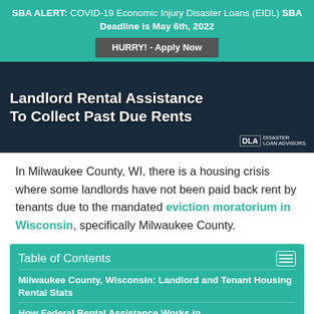SBA ALERT: COVID-19 Economic Injury Disaster Loans (EIDL) SBA Deadline is May 6th, 2022
HURRY! - Apply Now
[Figure (photo): Banner image with dark background showing text: Landlord Rental Assistance To Collect Past Due Rents, with DLA Disaster Loan Advisors logo]
In Milwaukee County, WI, there is a housing crisis where some landlords have not been paid back rent by tenants due to the mandated eviction moratorium in Wisconsin, specifically Milwaukee County.
Table of Contents
Milwaukee County, Wisconsin: Landlord and Tenant Housing Rental Stats
How Federal Rental Assistance Works in